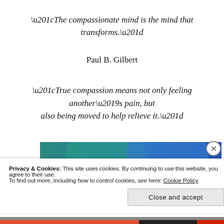“The compassionate mind is the mind that transforms.”
Paul B. Gilbert
“True compassion means not only feeling another’s pain, but also being moved to help relieve it.”
[Figure (illustration): Abstract illustration with overlapping circles in teal and blue tones with a pink/magenta horizontal band.]
Privacy & Cookies: This site uses cookies. By continuing to use this website, you agree to their use. To find out more, including how to control cookies, see here: Cookie Policy
Close and accept